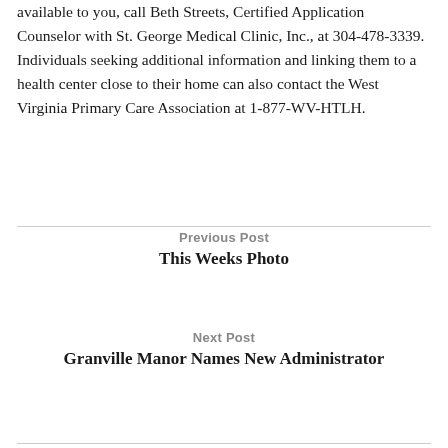available to you, call Beth Streets, Certified Application Counselor with St. George Medical Clinic, Inc., at 304-478-3339.
Individuals seeking additional information and linking them to a health center close to their home can also contact the West Virginia Primary Care Association at 1-877-WV-HTLH.
Previous Post
This Weeks Photo
Next Post
Granville Manor Names New Administrator